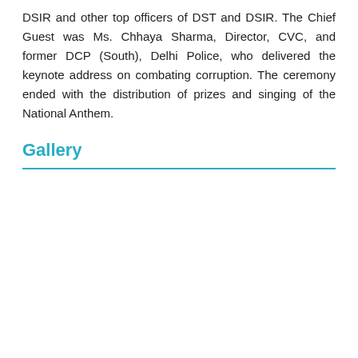DSIR and other top officers of DST and DSIR. The Chief Guest was Ms. Chhaya Sharma, Director, CVC, and former DCP (South), Delhi Police, who delivered the keynote address on combating corruption. The ceremony ended with the distribution of prizes and singing of the National Anthem.
Gallery